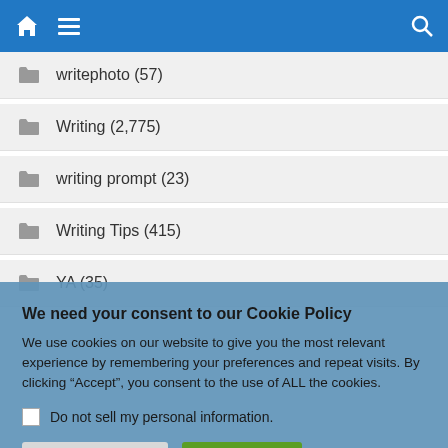Navigation bar with home, menu, and search icons
writephoto (57)
Writing (2,775)
writing prompt (23)
Writing Tips (415)
YA (35)
We need your consent to our Cookie Policy
We use cookies on our website to give you the most relevant experience by remembering your preferences and repeat visits. By clicking “Accept”, you consent to the use of ALL the cookies.
Do not sell my personal information.
Cookie Settings  Accept